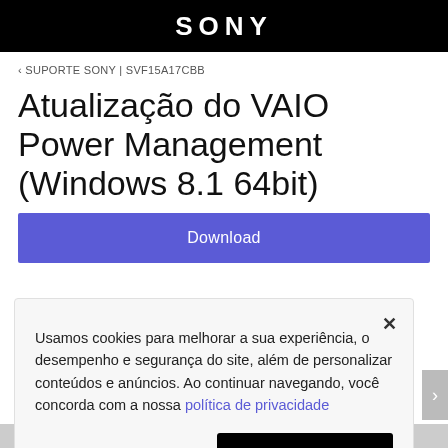SONY
‹ SUPORTE SONY | SVF15A17CBB
Atualização do VAIO Power Management (Windows 8.1 64bit)
Download
Usamos cookies para melhorar a sua experiência, o desempenho e segurança do site, além de personalizar conteúdos e anúncios. Ao continuar navegando, você concorda com a nossa política de privacidade
Entendi e fechar